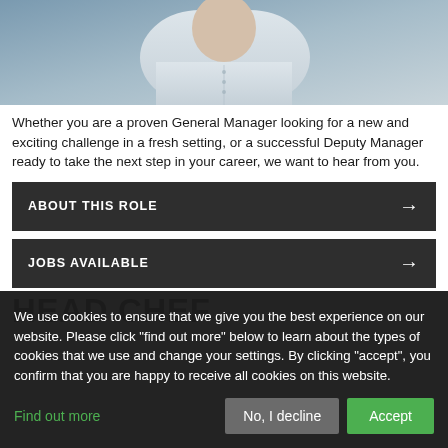[Figure (photo): Photo of a person wearing a white shirt, cropped showing upper body, in what appears to be a restaurant or kitchen setting]
Whether you are a proven General Manager looking for a new and exciting challenge in a fresh setting, or a successful Deputy Manager ready to take the next step in your career, we want to hear from you.
ABOUT THIS ROLE →
JOBS AVAILABLE →
HEAD CHEF
We use cookies to ensure that we give you the best experience on our website. Please click "find out more" below to learn about the types of cookies that we use and change your settings. By clicking "accept", you confirm that you are happy to receive all cookies on this website.
Find out more
No, I decline
Accept